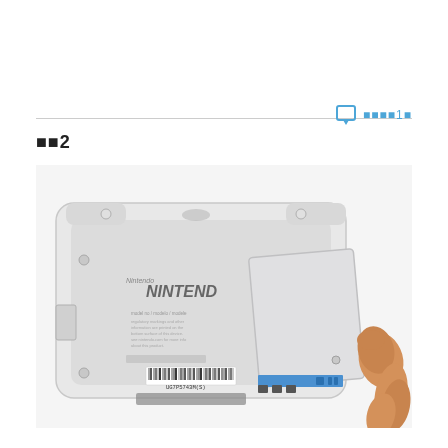コメント10
手順2
[Figure (photo): Back view of a Nintendo 3DS DSi handheld gaming console laid on a white surface, with a hand removing the white battery cover from the bottom-right corner, revealing a blue battery connector slot.]